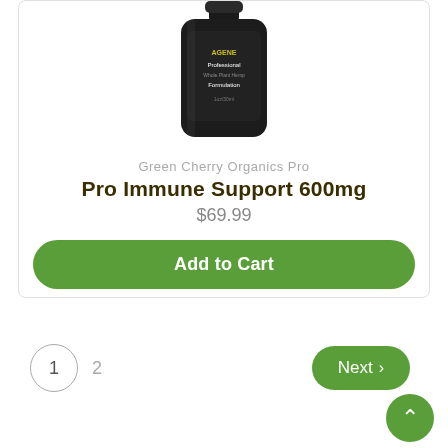[Figure (photo): Dark bottle of Green Cherry Organics Pro supplement product labeled Professional Whole Plant Hemp Formulation, 1oz/30ml]
Green Cherry Organics Pro
Pro Immune Support 600mg
$69.99
Add to Cart
1
2
Next